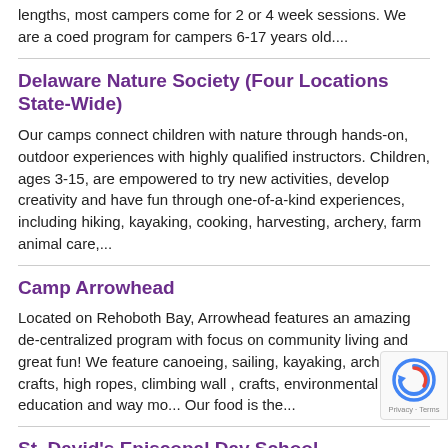lengths, most campers come for 2 or 4 week sessions. We are a coed program for campers 6-17 years old....
Delaware Nature Society (Four Locations State-Wide)
Our camps connect children with nature through hands-on, outdoor experiences with highly qualified instructors. Children, ages 3-15, are empowered to try new activities, develop creativity and have fun through one-of-a-kind experiences, including hiking, kayaking, cooking, harvesting, archery, farm animal care,...
Camp Arrowhead
Located on Rehoboth Bay, Arrowhead features an amazing de-centralized program with focus on community living and great fun! We feature canoeing, sailing, kayaking, archery, crafts, high ropes, climbing wall , crafts, environmental education and way mo... Our food is the...
St. David's Episcopal Day School